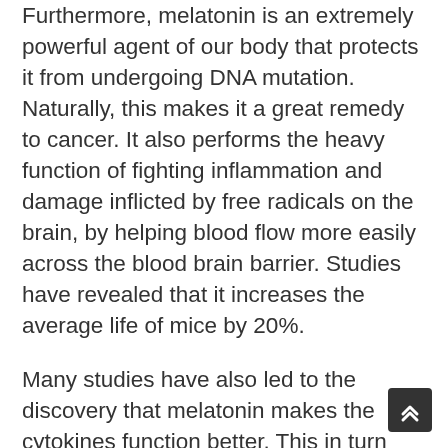Furthermore, melatonin is an extremely powerful agent of our body that protects it from undergoing DNA mutation. Naturally, this makes it a great remedy to cancer. It also performs the heavy function of fighting inflammation and damage inflicted by free radicals on the brain, by helping blood flow more easily across the blood brain barrier. Studies have revealed that it increases the average life of mice by 20%.
Many studies have also led to the discovery that melatonin makes the cytokines function better. This in turn makes your immune system more sensitive and more coordinated, enabling it to fight better against infections and contagious diseases. This improved coordination brings down chronic inflammatory and auto-immune